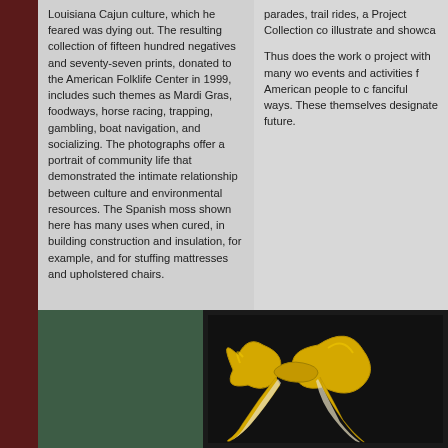Louisiana Cajun culture, which he feared was dying out. The resulting collection of fifteen hundred negatives and seventy-seven prints, donated to the American Folklife Center in 1999, includes such themes as Mardi Gras, foodways, horse racing, trapping, gambling, boat navigation, and socializing. The photographs offer a portrait of community life that demonstrated the intimate relationship between culture and environmental resources. The Spanish moss shown here has many uses when cured, in building construction and insulation, for example, and for stuffing mattresses and upholstered chairs.
parades, trail rides, a Project Collection co illustrate and showca Thus does the work o project with many wo events and activities f American people to c fanciful ways. These themselves designate future.
[Figure (photo): A yellow ribbon or bow photographed against a dark black background, showing a decorative folded fabric ribbon with light-colored lining visible.]